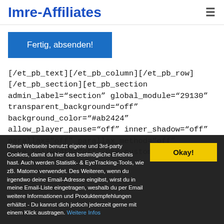Imre-Affiliates
[Figure (other): Blue submit button labeled 'Fertig, absenden!']
[/et_pb_text][/et_pb_column][/et_pb_row][/et_pb_section][et_pb_section admin_label="section" global_module="29130" transparent_background="off" background_color="#ab2424" allow_player_pause="off" inner_shadow="off" parallax="off" parallax_method="off" make_fullwidth="off" use_custom_width="off"
Diese Webseite benutzt eigene und 3rd-party Cookies, damit du hier das bestmögliche Erlebnis hast. Auch werden Statistik- & EyeTracking-Tools, wie zB. Matomo verwendet. Des Weiteren, wenn du irgendwo deine Email-Adresse eingibst, wirst du in meine Email-Liste eingetragen, weshalb du per Email weitere Informationen und Produktempfehlungen erhältst - Du kannst dich jedoch jederzeit gerne mit einem Klick austragen. Weitere Infos